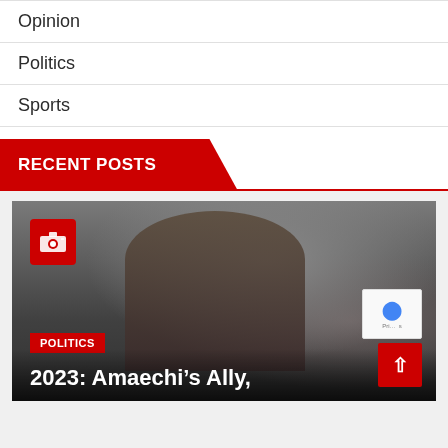Opinion
Politics
Sports
RECENT POSTS
[Figure (photo): Photo of a Black man in a suit and glasses seated, looking upward thoughtfully, with blurred crowd in the background. A red camera icon badge is in the top left corner.]
POLITICS
2023: Amaechi's Ally,